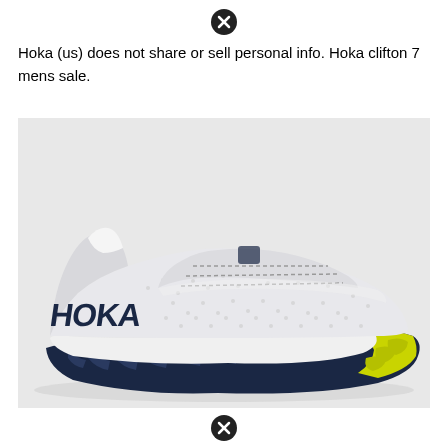[Figure (other): Close/dismiss icon (circle with X) at top center]
Hoka (us) does not share or sell personal info. Hoka clifton 7 mens sale.
[Figure (photo): Product photo of a Hoka Clifton 7 men's running shoe. The shoe is predominantly white with a dark navy midsole and yellow-green outsole. The HOKA logo is visible in dark navy on the side of the shoe.]
[Figure (other): Close/dismiss icon (circle with X) at bottom center]